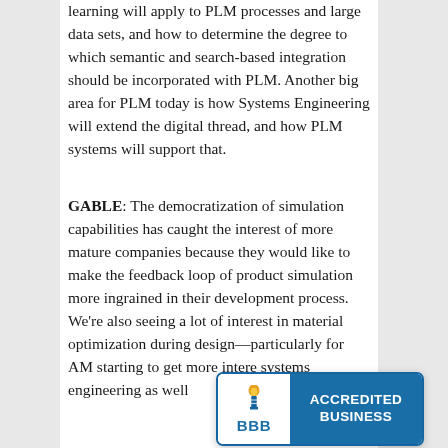learning will apply to PLM processes and large data sets, and how to determine the degree to which semantic and search-based integration should be incorporated with PLM. Another big area for PLM today is how Systems Engineering will extend the digital thread, and how PLM systems will support that.
GABLE: The democratization of simulation capabilities has caught the interest of more mature companies because they would like to make the feedback loop of product simulation more ingrained in their development process. We're also seeing a lot of interest in material optimization during design—particularly for AM starting to get more interest in systems engineering as well
[Figure (logo): BBB Accredited Business badge with BBB torch logo on white background and blue panel with text ACCREDITED BUSINESS]